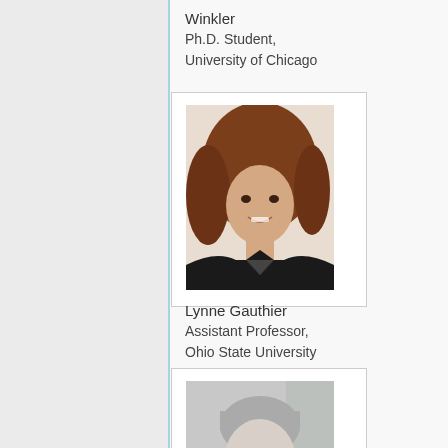Winkler
Ph.D. Student,
University of Chicago
[Figure (photo): Headshot of a young woman with long curly auburn/brown hair, wearing a dark blazer, smiling, light background]
Lynne Gauthier
Assistant Professor,
Ohio State University
[Figure (photo): Black and white headshot of a young man with short light hair, smiling slightly, blurred background]